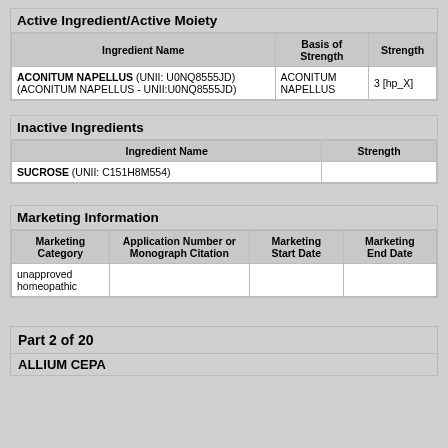| Ingredient Name | Basis of Strength | Strength |
| --- | --- | --- |
| ACONITUM NAPELLUS (UNII: U0NQ8555JD) (ACONITUM NAPELLUS - UNII:U0NQ8555JD) | ACONITUM NAPELLUS | 3 [hp_X] |
| Ingredient Name | Strength |
| --- | --- |
| SUCROSE (UNII: C151H8M554) |  |
| Marketing Category | Application Number or Monograph Citation | Marketing Start Date | Marketing End Date |
| --- | --- | --- | --- |
| unapproved homeopathic |  |  |  |
Part 2 of 20
ALLIUM CEPA